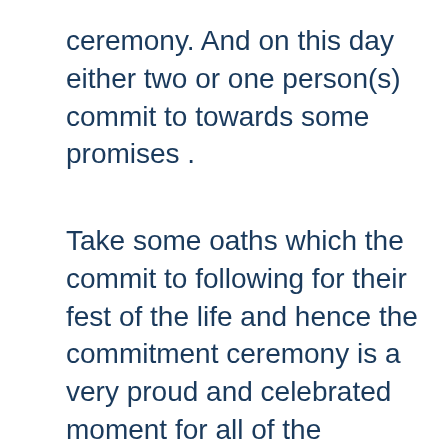ceremony. And on this day either two or one person(s) commit to towards some promises .
Take some oaths which the commit to following for their fest of the life and hence the commitment ceremony is a very proud and celebrated moment for all of the persons who are a part of it.